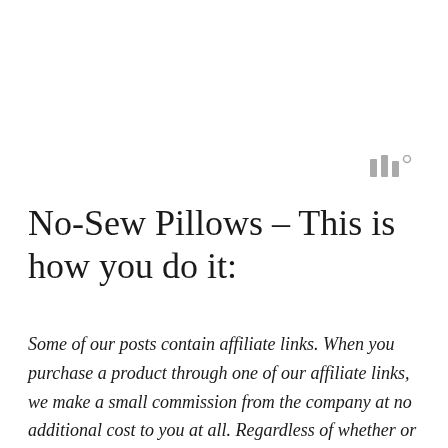[Figure (logo): Small gray logo/icon in top right area, appears to be three vertical bars with a degree symbol]
No-Sew Pillows – This is how you do it:
Some of our posts contain affiliate links. When you purchase a product through one of our affiliate links, we make a small commission from the company at no additional cost to you at all. Regardless of whether or not we make a commission, we only recommend products we genuinely love and that we’re sure